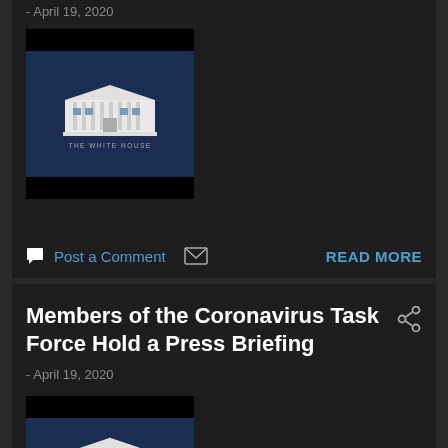- April 19, 2020
[Figure (screenshot): White House thumbnail image with dark background showing the White House building and 'THE WHITE HOUSE' text]
Post a Comment
READ MORE
Members of the Coronavirus Task Force Hold a Press Briefing
- April 19, 2020
[Figure (screenshot): White House thumbnail image with dark background showing the White House building and 'THE WHITE HOUSE' text]